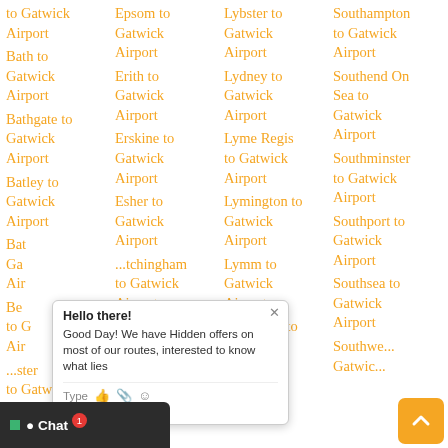to Gatwick Airport
Bath to Gatwick Airport
Bathgate to Gatwick Airport
Batley to Gatwick Airport
Bat... to Gatwick Airport
Be... to Gatwick Airport
...ster to Gatwick
Epsom to Gatwick Airport
Erith to Gatwick Airport
Erskine to Gatwick Airport
Esher to Gatwick Airport
...tchingham to Gatwick Airport
...vesham to Gatwick Airport
Exeter to
Lybster to Gatwick Airport
Lydney to Gatwick Airport
Lyme Regis to Gatwick Airport
Lymington to Gatwick Airport
Lymm to Gatwick Airport
Lyndhurst to Gatwick Airport
Lynton to
Southampton to Gatwick Airport
Southend On Sea to Gatwick Airport
Southminster to Gatwick Airport
Southport to Gatwick Airport
Southsea to Gatwick Airport
Southwell Gatwick Airport